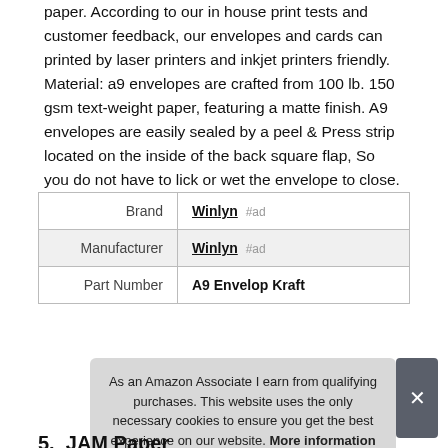paper. According to our in house print tests and customer feedback, our envelopes and cards can printed by laser printers and inkjet printers friendly. Material: a9 envelopes are crafted from 100 lb. 150 gsm text-weight paper, featuring a matte finish. A9 envelopes are easily sealed by a peel & Press strip located on the inside of the back square flap, So you do not have to lick or wet the envelope to close.
|  |  |
| --- | --- |
| Brand | Winlyn #ad |
| Manufacturer | Winlyn #ad |
| Part Number | A9 Envelop Kraft |
As an Amazon Associate I earn from qualifying purchases. This website uses the only necessary cookies to ensure you get the best experience on our website. More information
5. JAM Paper